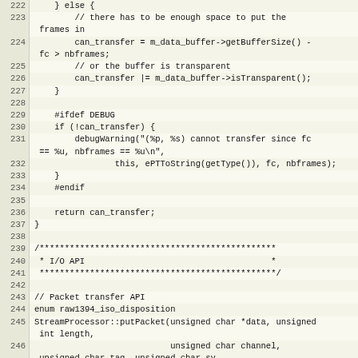[Figure (other): Source code listing lines 222-248 in C++ showing a StreamProcessor class with can_transfer logic, debug macros, I/O API comment block, and putPacket function signature]